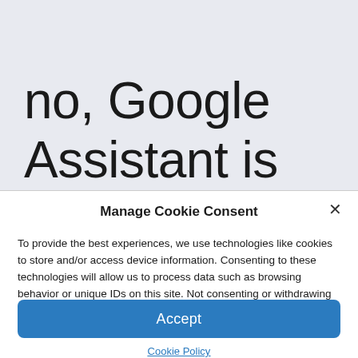no, Google Assistant is still
Manage Cookie Consent
To provide the best experiences, we use technologies like cookies to store and/or access device information. Consenting to these technologies will allow us to process data such as browsing behavior or unique IDs on this site. Not consenting or withdrawing consent, may adversely affect certain features and functions.
Accept
Cookie Policy